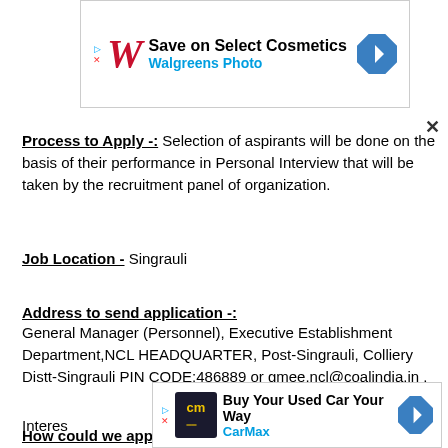[Figure (screenshot): Walgreens ad banner: Save on Select Cosmetics – Walgreens Photo]
Process to Apply -: Selection of aspirants will be done on the basis of their performance in Personal Interview that will be taken by the recruitment panel of organization.
Job Location - Singrauli
Address to send application -:
General Manager (Personnel), Executive Establishment Department,NCL HEADQUARTER, Post-Singrauli, Colliery Distt-Singrauli PIN CODE:486889 or gmee.ncl@coalindia.in .
How could we apply for Northern Coalfields Limited ? -:
[Figure (screenshot): CarMax ad banner: Buy Your Used Car Your Way – CarMax]
Interes...